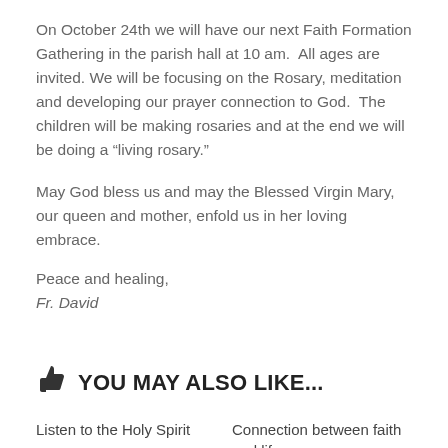On October 24th we will have our next Faith Formation Gathering in the parish hall at 10 am. All ages are invited. We will be focusing on the Rosary, meditation and developing our prayer connection to God. The children will be making rosaries and at the end we will be doing a “living rosary.”
May God bless us and may the Blessed Virgin Mary, our queen and mother, enfold us in her loving embrace.
Peace and healing,
Fr. David
YOU MAY ALSO LIKE...
Listen to the Holy Spirit
Connection between faith and life    25-Nov-2018